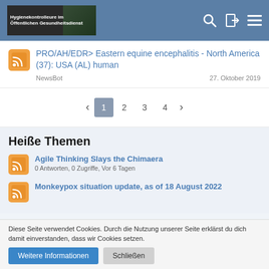Hygienekontrolleure im Öffentlichen Gesundheitsdienst
PRO/AH/EDR> Eastern equine encephalitis - North America (37): USA (AL) human
NewsBot    27. Oktober 2019
< 1 2 3 4 >
Heiße Themen
Agile Thinking Slays the Chimaera
0 Antworten, 0 Zugriffe, Vor 6 Tagen
Monkeypox situation update, as of 18 August 2022
Diese Seite verwendet Cookies. Durch die Nutzung unserer Seite erklärst du dich damit einverstanden, dass wir Cookies setzen.